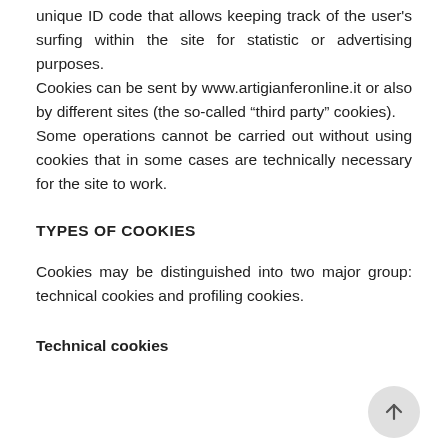unique ID code that allows keeping track of the user's surfing within the site for statistic or advertising purposes.
Cookies can be sent by www.artigianferonline.it or also by different sites (the so-called “third party” cookies).
Some operations cannot be carried out without using cookies that in some cases are technically necessary for the site to work.
TYPES OF COOKIES
Cookies may be distinguished into two major group: technical cookies and profiling cookies.
Technical cookies